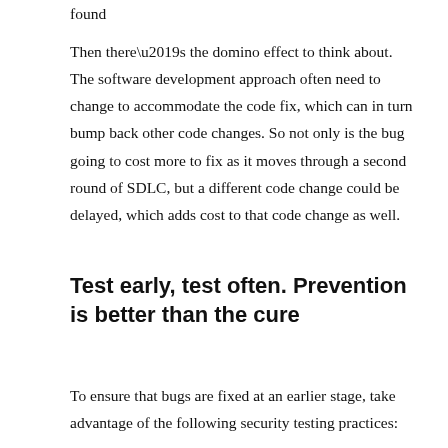found
Then there’s the domino effect to think about. The software development approach often need to change to accommodate the code fix, which can in turn bump back other code changes. So not only is the bug going to cost more to fix as it moves through a second round of SDLC, but a different code change could be delayed, which adds cost to that code change as well.
Test early, test often. Prevention is better than the cure
To ensure that bugs are fixed at an earlier stage, take advantage of the following security testing practices: